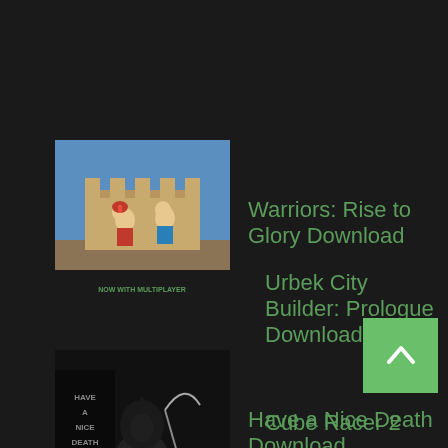[Figure (screenshot): Warriors: Rise to Glory game thumbnail - colorful cartoon warriors scene with text NOW WITH MULTIPLAYER at bottom]
Warriors: Rise to Glory Download
Urbek City Builder: Prologue Download
[Figure (screenshot): Have a Nice Death game thumbnail - dark monochrome art with grim reaper figure]
Have a Nice Death Download
Cube Racer 2